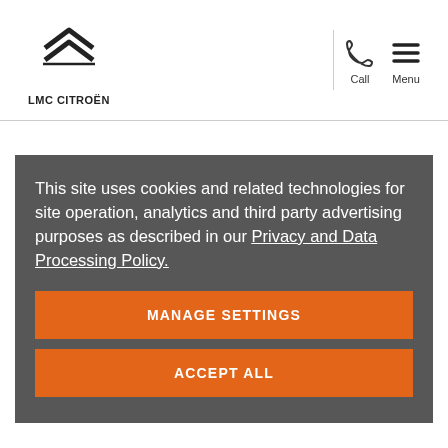[Figure (logo): LMC Citroën logo with double chevron graphic and text LMC CITROËN below]
This site uses cookies and related technologies for site operation, analytics and third party advertising purposes as described in our Privacy and Data Processing Policy.
MANAGE SETTINGS
ACCEPT ALL
The sweeping glass panel of the optional panoramic sunroof makes travelling in Citroën C3 Aircross SUV a bright and airy experience. Clear, simple controls allow